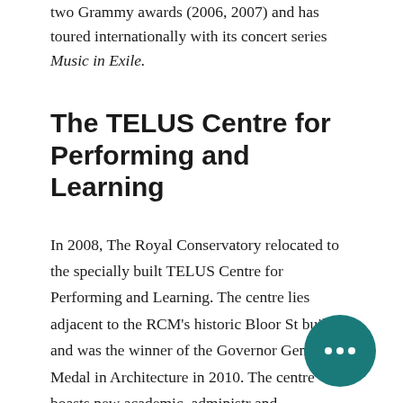two Grammy awards (2006, 2007) and has toured internationally with its concert series Music in Exile.
The TELUS Centre for Performing and Learning
In 2008, The Royal Conservatory relocated to the specially built TELUS Centre for Performing and Learning. The centre lies adjacent to the RCM's historic Bloor St building and was the winner of the Governor General's Medal in Architecture in 2010. The centre boasts new academic, administrative and performance spaces, including 77 studios and 20 classrooms; Conservatory Hall, a multi-purpose performance and rehearsal hall; a